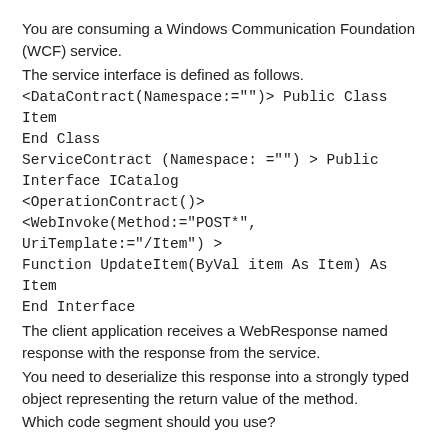You are consuming a Windows Communication Foundation (WCF) service.
The service interface is defined as follows.
<DataContract(Namespace:="")> Public Class Item
End Class
ServiceContract (Namespace: ="") > Public Interface ICatalog
<OperationContract()>
<WebInvoke(Method:="POST*", UriTemplate:="/Item") >
Function UpdateItem(ByVal item As Item) As Item
End Interface
The client application receives a WebResponse named response with the response from the service.
You need to deserialize this response into a strongly typed object representing the return value of the method.
Which code segment should you use?
A.    Dim r As XmlDictionaryReader =
JsonReaderUriterFactory.CreateJsonReader(